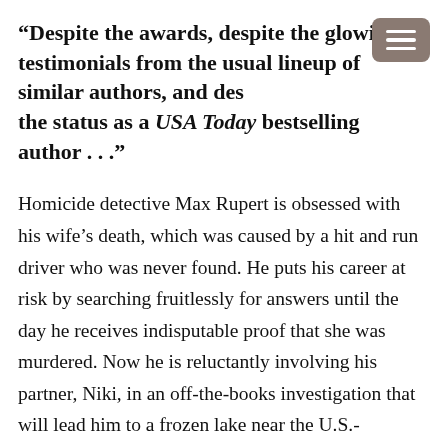“Despite the awards, despite the glowing testimonials from the usual lineup of similar authors, and des[pite] the status as a USA Today bestselling author . . .”
Homicide detective Max Rupert is obsessed with his wife’s death, which was caused by a hit and run driver who was never found. He puts his career at risk by searching fruitlessly for answers until the day he receives indisputable proof that she was murdered. Now he is reluctantly involving his partner, Niki, in an off-the-books investigation that will lead him to a frozen lake near the U.S.-Canadian border and a decision that will change his life forever.
The Deep Dark Descending is the fourth novel by Allen Eskens, a former criminal defense attorney who also has a degree in journalism from the University of Minnesota and has studied creative writing at Minnesota State University-